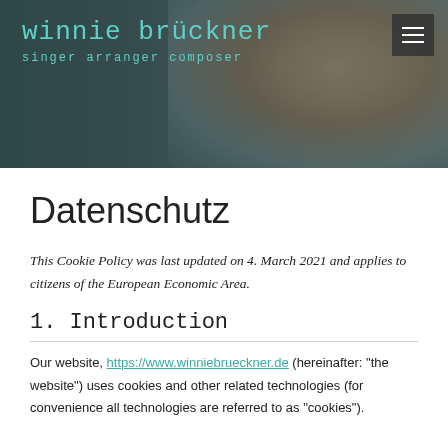winnie brückner
singer arranger composer
Datenschutz
This Cookie Policy was last updated on 4. March 2021 and applies to citizens of the European Economic Area.
1.  Introduction
Our website, https://www.winniebrueckner.de (hereinafter: "the website") uses cookies and other related technologies (for convenience all technologies are referred to as "cookies").